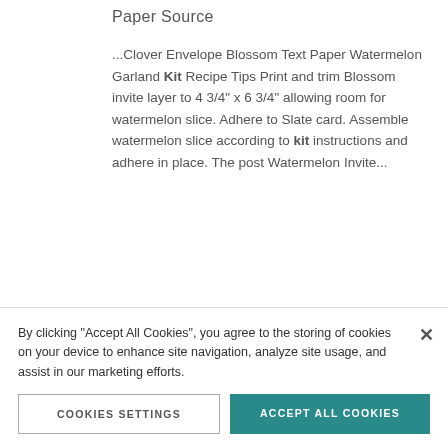Paper Source
...Clover Envelope Blossom Text Paper Watermelon Garland Kit Recipe Tips Print and trim Blossom invite layer to 4 3/4" x 6 3/4" allowing room for watermelon slice. Adhere to Slate card. Assemble watermelon slice according to kit instructions and adhere in place. The post Watermelon Invite...
[Figure (illustration): Red/orange stamped illustration of a bee or insect with wings spread, partially visible at bottom of content area]
By clicking "Accept All Cookies", you agree to the storing of cookies on your device to enhance site navigation, analyze site usage, and assist in our marketing efforts.
COOKIES SETTINGS   ACCEPT ALL COOKIES